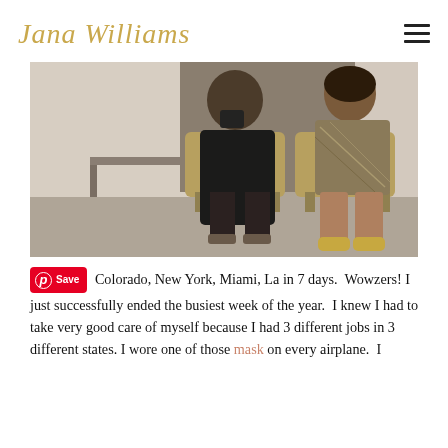Jana Williams
[Figure (photo): Two women sitting side by side on gold/yellow chairs in a modern indoor space. Left woman wears all black and holds a camera. Right woman wears a patterned dress and gold sneakers. Warm, slightly faded photo filter.]
Colorado, New York, Miami, La in 7 days.  Wowzers! I just successfully ended the busiest week of the year.  I knew I had to take very good care of myself because I had 3 different jobs in 3 different states. I wore one of those mask on every airplane.  I